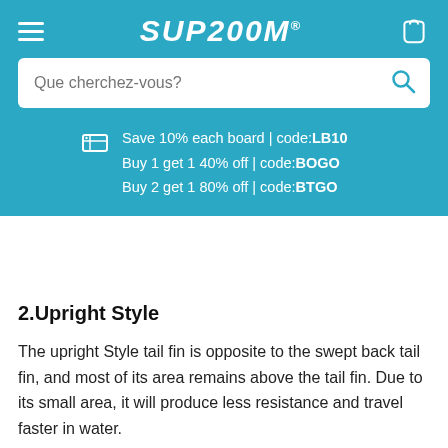SUPZOOM
Que cherchez-vous?
Save 10% each board | code:LB10
Buy 1 get 1 40% off | code:BOGO
Buy 2 get 1 80% off | code:BTGO
2.Upright Style
The upright Style tail fin is opposite to the swept back tail fin, and most of its area remains above the tail fin. Due to its small area, it will produce less resistance and travel faster in water.
The advantage is that the shape of the tail fin is more suitable for